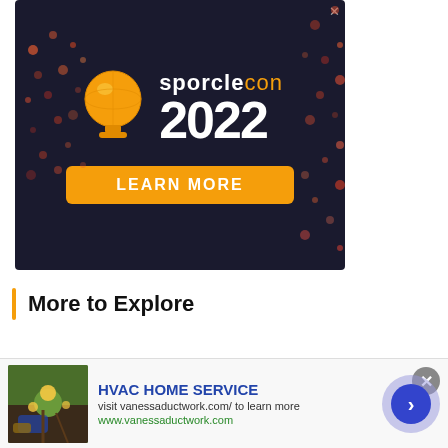[Figure (illustration): Sporclecon 2022 advertisement banner with dark navy background, orange globe trophy icon, 'sporclecon 2022' text, decorative colored dots, and an orange 'LEARN MORE' button]
More to Explore
Quiz From the Vault
[Figure (photo): Bottom overlay advertisement for HVAC HOME SERVICE showing a gardening image with dandelions being pulled from soil, with company name 'HVAC HOME SERVICE', description 'visit vanessaductwork.com/ to learn more', URL 'www.vanessaductwork.com', a close button, and a blue navigation arrow circle]